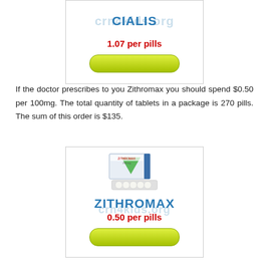[Figure (other): Cialis drug card with watermark 'crn4kids.org', price 1.07 per pills, and a green pill-shaped button]
If the doctor prescribes to you Zithromax you should spend $0.50 per 100mg. The total quantity of tablets in a package is 270 pills. The sum of this order is $135.
[Figure (other): Zithromax drug card with product photo, watermark 'crn4kids.org', price 0.50 per pills, and a green pill-shaped button]